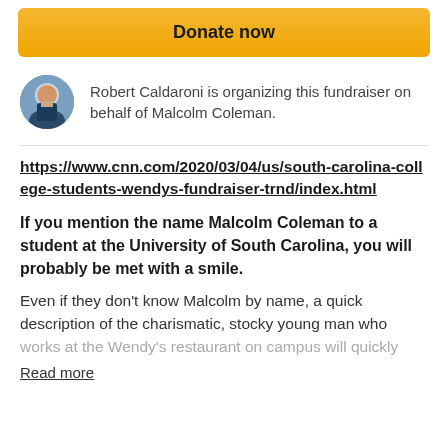Donate now
Robert Caldaroni is organizing this fundraiser on behalf of Malcolm Coleman.
https://www.cnn.com/2020/03/04/us/south-carolina-college-students-wendys-fundraiser-trnd/index.html
If you mention the name Malcolm Coleman to a student at the University of South Carolina, you will probably be met with a smile.
Even if they don't know Malcolm by name, a quick description of the charismatic, stocky young man who works at the Wendy's restaurant on campus will quickly
Read more